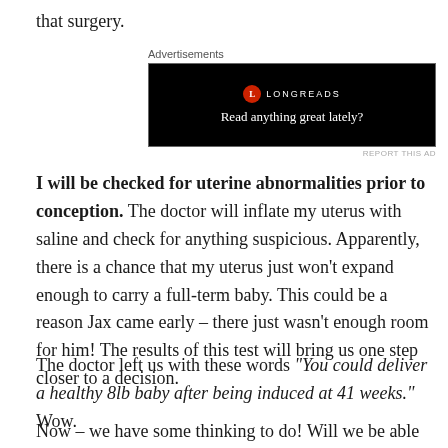that surgery.
[Figure (screenshot): Advertisement banner for Longreads website with black background, red circle logo with 'L', brand name 'LONGREADS', and tagline 'Read anything great lately?']
I will be checked for uterine abnormalities prior to conception. The doctor will inflate my uterus with saline and check for anything suspicious. Apparently, there is a chance that my uterus just won't expand enough to carry a full-term baby. This could be a reason Jax came early – there just wasn't enough room for him! The results of this test will bring us one step closer to a decision.
The doctor left us with these words “You could deliver a healthy 8lb baby after being induced at 41 weeks.” Wow.
Now – we have some thinking to do! Will we be able to